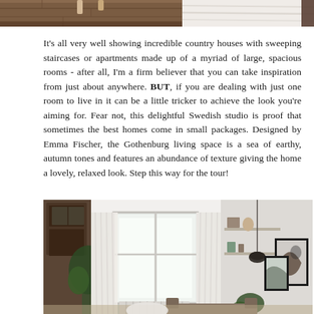[Figure (photo): Top cropped photo showing partial interior details — wooden flooring on the left and light fluffy rug/textile on the right]
It's all very well showing incredible country houses with sweeping staircases or apartments made up of a myriad of large, spacious rooms - after all, I'm a firm believer that you can take inspiration from just about anywhere. BUT, if you are dealing with just one room to live in it can be a little tricker to achieve the look you're aiming for. Fear not, this delightful Swedish studio is proof that sometimes the best homes come in small packages. Designed by Emma Fischer, the Gothenburg living space is a sea of earthy, autumn tones and features an abundance of texture giving the home a lovely, relaxed look. Step this way for the tour!
[Figure (photo): Interior photo of a bright Scandinavian studio apartment with large windows, sheer white curtains, plants, shelving, a pendant lamp, and framed artwork on the right side]